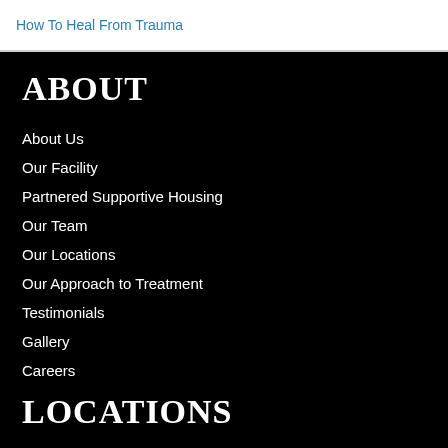How To Heal From Trauma
ABOUT
About Us
Our Facility
Partnered Supportive Housing
Our Team
Our Locations
Our Approach to Treatment
Testimonials
Gallery
Careers
LOCATIONS